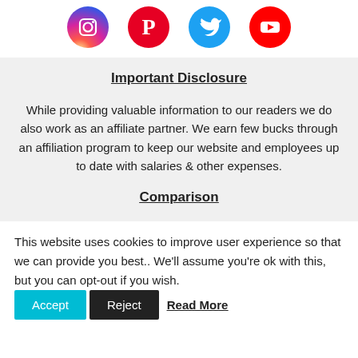[Figure (illustration): Four social media icons: Instagram (pink/red gradient circle), Pinterest (red circle with P), Twitter (light blue circle with bird), YouTube (red circle with play button)]
Important Disclosure
While providing valuable information to our readers we do also work as an affiliate partner. We earn few bucks through an affiliation program to keep our website and employees up to date with salaries & other expenses.
Comparison
This website uses cookies to improve user experience so that we can provide you best.. We'll assume you're ok with this, but you can opt-out if you wish.